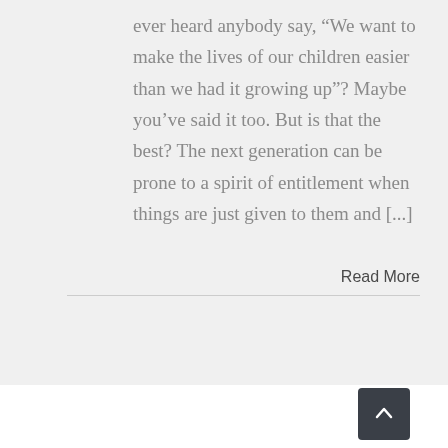ever heard anybody say, “We want to make the lives of our children easier than we had it growing up”? Maybe you’ve said it too. But is that the best? The next generation can be prone to a spirit of entitlement when things are just given to them and [...]
Read More